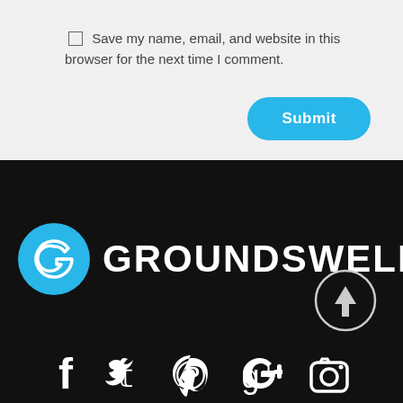Save my name, email, and website in this browser for the next time I comment.
Submit
[Figure (logo): Groundswell logo: blue circle with white G letterform on left, white bold text GROUNDSWELL on right, on black background]
[Figure (other): Scroll-to-top button: circle with upward arrow, white outline on black background]
[Figure (other): Social media icon bar: Facebook, Twitter, Pinterest, Google+, Instagram icons in white on black background]